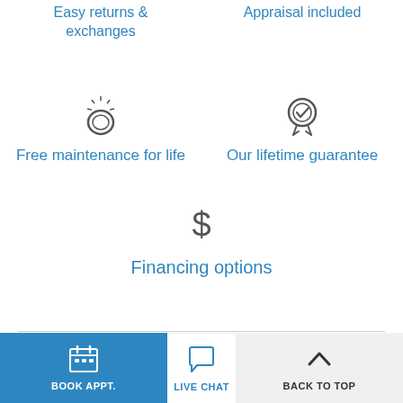Easy returns & exchanges
Appraisal included
[Figure (illustration): Ring icon with sparkle]
[Figure (illustration): Medal/guarantee badge icon]
Free maintenance for life
Our lifetime guarantee
[Figure (illustration): Dollar sign icon]
Financing options
[Figure (illustration): Calendar icon for BOOK APPT.]
BOOK APPT.
[Figure (illustration): Chat bubble icon for LIVE CHAT]
LIVE CHAT
[Figure (illustration): Up chevron icon for BACK TO TOP]
BACK TO TOP